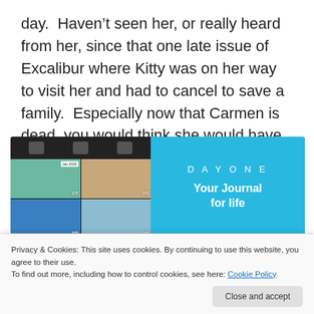day.  Haven’t seen her, or really heard from her, since that one late issue of Excalibur where Kitty was on her way to visit her and had to cancel to save a family.  Especially now that Carmen is dead, you would think she would have seeked out her mother at one point.
[Figure (screenshot): DayOne app advertisement showing a phone screenshot with photo grid on the left and the text 'DAYONE / Your Journal for life' on a blue background on the right]
Privacy & Cookies: This site uses cookies. By continuing to use this website, you agree to their use.
To find out more, including how to control cookies, see here: Cookie Policy
Close and accept